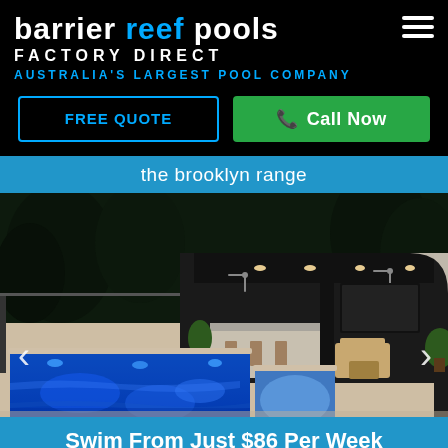barrier reef pools FACTORY DIRECT AUSTRALIA'S LARGEST POOL COMPANY
FREE QUOTE
Call Now
the brooklyn range
[Figure (photo): Luxury outdoor pool with spa at night, illuminated with blue lighting. Modern alfresco entertaining area visible in background with ceiling fans, outdoor kitchen, seating and TV. Rectangular lap pool in foreground with small spa to the right side. Navigation arrows on left and right sides of image.]
Swim From Just $86 Per Week